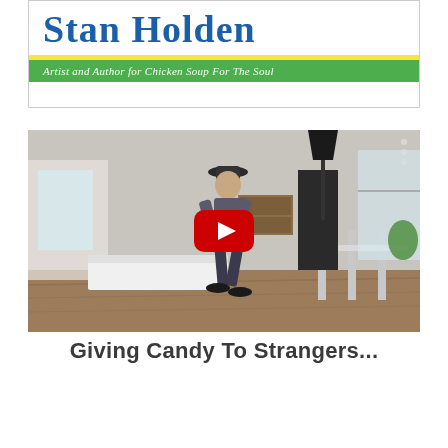[Figure (illustration): Book cover banner for Stan Holden showing author name in blue serif font on white background with green stripe below reading 'Artist and Author for Chicken Soup For The Soul' in italic white text, with yellow stripe accent]
[Figure (screenshot): YouTube video thumbnail showing a person in a hat inside a modern apartment/kitchen setting with a large red YouTube play button overlay in the center]
Giving Candy To Strangers...